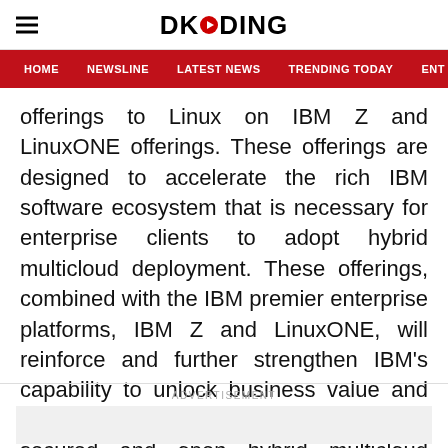DKODING
HOME  NEWSLINE  LATEST NEWS  TRENDING TODAY  ENT
offerings to Linux on IBM Z and LinuxONE offerings. These offerings are designed to accelerate the rich IBM software ecosystem that is necessary for enterprise clients to adopt hybrid multicloud deployment. These offerings, combined with the IBM premier enterprise platforms, IBM Z and LinuxONE, will reinforce and further strengthen IBM’s capability to unlock business value and drive growth for clients by providing a secured and open hybrid multicloud platform.
ADVERTISEMENT